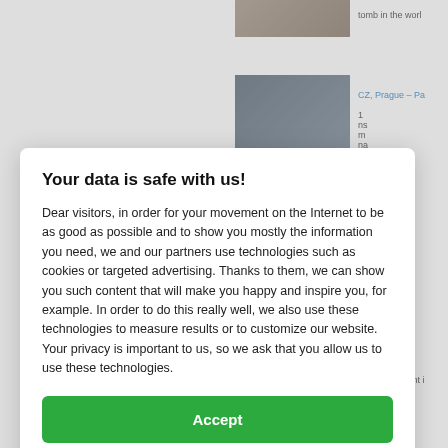[Figure (screenshot): Background webpage content partially visible behind modal overlay, showing photos and text snippets including 'tomb in the world', a link 'CZ, Prague – Pa', and other partial text]
Your data is safe with us!
Dear visitors, in order for your movement on the Internet to be as good as possible and to show you mostly the information you need, we and our partners use technologies such as cookies or targeted advertising. Thanks to them, we can show you such content that will make you happy and inspire you, for example. In order to do this really well, we also use these technologies to measure results or to customize our website. Your privacy is important to us, so we ask that you allow us to use these technologies.
Accept
Deny
Set